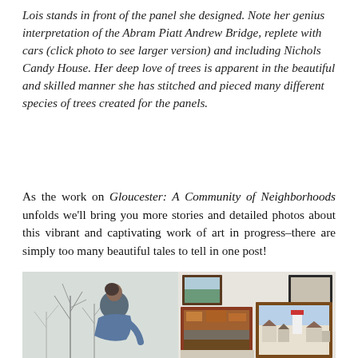Lois stands in front of the panel she designed. Note her genius interpretation of the Abram Piatt Andrew Bridge, replete with cars (click photo to see larger version) and including Nichols Candy House. Her deep love of trees is apparent in the beautiful and skilled manner she has stitched and pieced many different species of trees created for the panels.
As the work on Gloucester: A Community of Neighborhoods unfolds we'll bring you more stories and detailed photos about this vibrant and captivating work of art in progress–there are simply too many beautiful tales to tell in one post!
[Figure (photo): A woman with short dark hair wearing a blue denim shirt leans over a table near a window with bare winter trees visible outside. On the right side, a wall displays several framed paintings/artworks including what appear to be landscape and architectural scenes.]